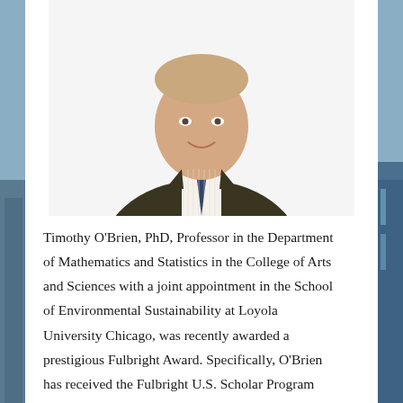[Figure (photo): Professional headshot of Timothy O'Brien, a man in a dark suit and striped tie, smiling, shown from the chest up against a white background.]
Timothy O'Brien, PhD, Professor in the Department of Mathematics and Statistics in the College of Arts and Sciences with a joint appointment in the School of Environmental Sustainability at Loyola University Chicago, was recently awarded a prestigious Fulbright Award. Specifically, O'Brien has received the Fulbright U.S. Scholar Program award in Data Science and STEM Research from the U.S. Department of State and the Fulbright Foreign Scholarship Board to serve as a visiting scholar at the Technical University of Budapest,